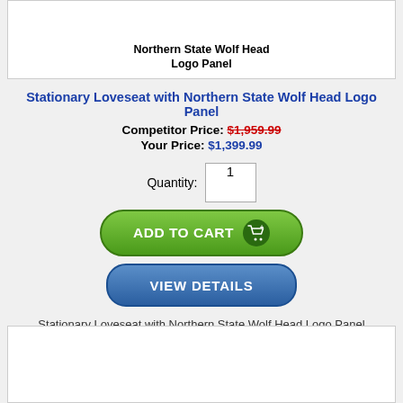[Figure (screenshot): Top partial product image box with title 'Northern State Wolf Head Logo Panel' partially visible at top]
Stationary Loveseat with Northern State Wolf Head Logo Panel
Competitor Price: $1,959.99
Your Price: $1,399.99
Quantity: 1
[Figure (infographic): Green 'ADD TO CART' button with shopping cart icon]
[Figure (infographic): Blue 'VIEW DETAILS' button]
Stationary Loveseat with Northern State Wolf Head Logo Panel
[Figure (infographic): Green 'FREE SHIPPING' badge with truck icon]
[Figure (screenshot): Bottom partial product image box, empty white area]